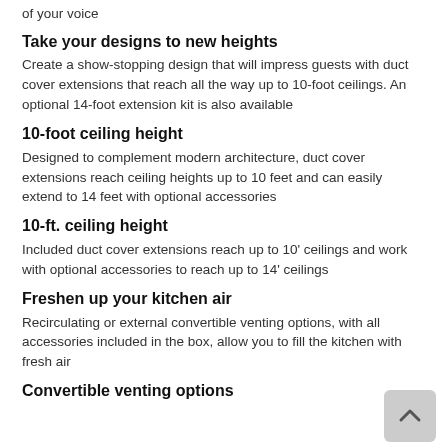of your voice
Take your designs to new heights
Create a show-stopping design that will impress guests with duct cover extensions that reach all the way up to 10-foot ceilings. An optional 14-foot extension kit is also available
10-foot ceiling height
Designed to complement modern architecture, duct cover extensions reach ceiling heights up to 10 feet and can easily extend to 14 feet with optional accessories
10-ft. ceiling height
Included duct cover extensions reach up to 10' ceilings and work with optional accessories to reach up to 14' ceilings
Freshen up your kitchen air
Recirculating or external convertible venting options, with all accessories included in the box, allow you to fill the kitchen with fresh air
Convertible venting options